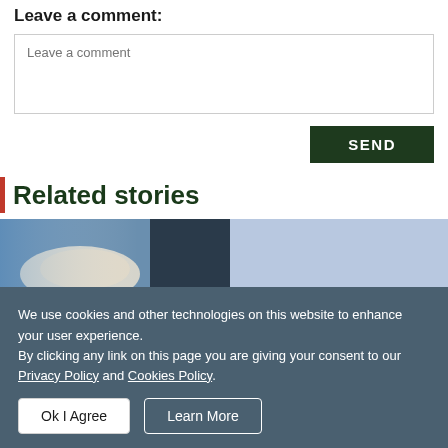Leave a comment:
Leave a comment
SEND
Related stories
[Figure (photo): Two-panel image: left shows a person's hand near a dark surface with blue tones; right is a solid light blue panel]
We use cookies and other technologies on this website to enhance your user experience.
By clicking any link on this page you are giving your consent to our Privacy Policy and Cookies Policy.
Ok I Agree
Learn More